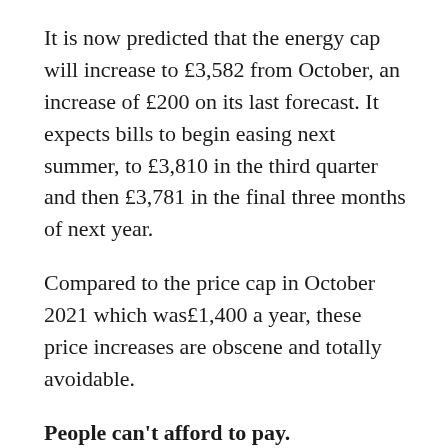It is now predicted that the energy cap will increase to £3,582 from October, an increase of £200 on its last forecast. It expects bills to begin easing next summer, to £3,810 in the third quarter and then £3,781 in the final three months of next year.
Compared to the price cap in October 2021 which was£1,400 a year, these price increases are obscene and totally avoidable.
People can't afford to pay.
The reality is that there are already thousands of people that were already unable to meet every day household expenses, many of which are living in what could be termed as...